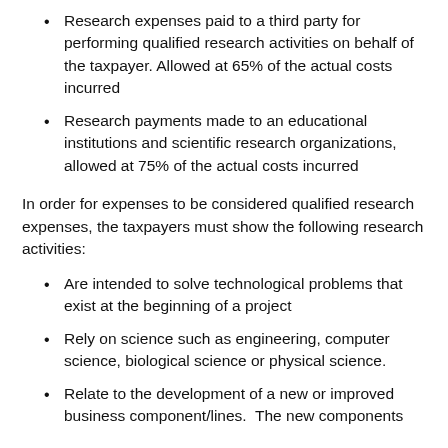Research expenses paid to a third party for performing qualified research activities on behalf of the taxpayer. Allowed at 65% of the actual costs incurred
Research payments made to an educational institutions and scientific research organizations, allowed at 75% of the actual costs incurred
In order for expenses to be considered qualified research expenses, the taxpayers must show the following research activities:
Are intended to solve technological problems that exist at the beginning of a project
Rely on science such as engineering, computer science, biological science or physical science.
Relate to the development of a new or improved business component/lines.  The new components